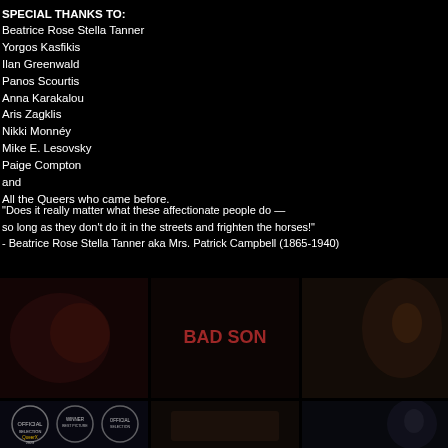SPECIAL THANKS TO:
Beatrice Rose Stella Tanner
Yorgos Kasfikis
Ilan Greenwald
Panos Scourtis
Anna Karakalou
Aris Zagklis
Nikki Monnéy
Mike E. Lesovsky
Paige Compton
and
All the Queers who came before.
“Does it really matter what these affectionate people do — so long as they don’t do it in the streets and frighten the horses!"
- Beatrice Rose Stella Tanner aka Mrs. Patrick Campbell (1865-1940)
[Figure (photo): Three film thumbnails in a row, showing dark cinematic scenes. First thumbnail has a reddish dark tone. Second shows text reading BAD SON. Third has a warm dark tone with a person visible.]
[Figure (photo): Three more film thumbnails in a row at the bottom, partially visible. First shows film festival award laurels and QueerX branding. Second is a dark scene. Third shows a dark figure.]